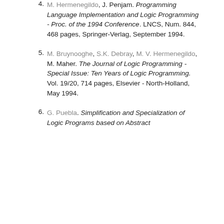4. M. Hermenegildo, J. Penjam. Programming Language Implementation and Logic Programming - Proc. of the 1994 Conference. LNCS, Num. 844, 468 pages, Springer-Verlag, September 1994.
5. M. Bruynooghe, S.K. Debray, M. V. Hermenegildo, M. Maher. The Journal of Logic Programming - Special Issue: Ten Years of Logic Programming. Vol. 19/20, 714 pages, Elsevier - North-Holland, May 1994.
6. G. Puebla. Simplification and Specialization of Logic Programs based on Abstract